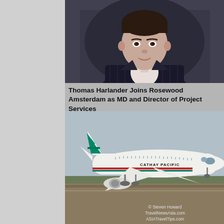[Figure (photo): Professional headshot of Thomas Harlander, a man in a dark pinstripe suit with light shirt, photographed against a dark grey background.]
Thomas Harlander Joins Rosewood Amsterdam as MD and Director of Project Services
[Figure (photo): Cathay Pacific commercial airplane (wide-body aircraft) on a runway or taxiway, photographed from the side. Cathay Pacific logo and text visible on fuselage. Watermark: © Steven Howard TravelNewsAsia.com ASIATravelTips.com]